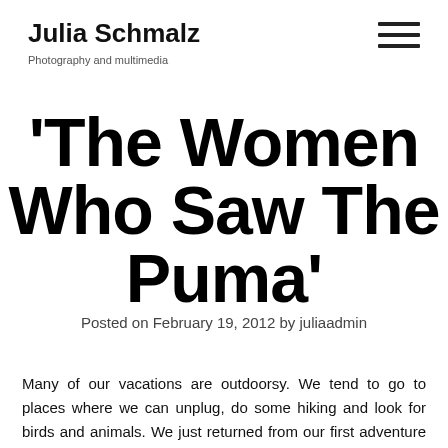Julia Schmalz
Photography and multimedia
'The Women Who Saw The Puma'
Posted on February 19, 2012 by juliaadmin
Many of our vacations are outdoorsy. We tend to go to places where we can unplug, do some hiking and look for birds and animals. We just returned from our first adventure in Costa Rica and cannot say enough good things about the country. Like our other vacations, we went a little off the beaten path and headed to an ecolodge called Lana Rios. I'll post other images and video clips